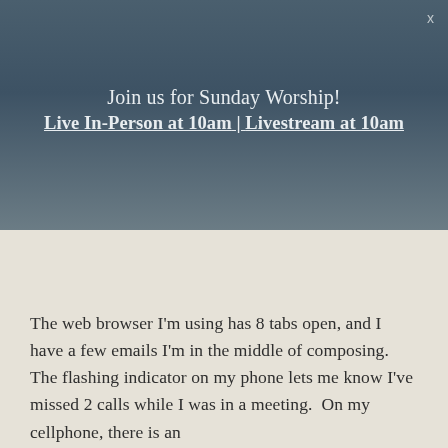X
Join us for Sunday Worship!
Live In-Person at 10am | Livestream at 10am
The web browser I'm using has 8 tabs open, and I have a few emails I'm in the middle of composing.  The flashing indicator on my phone lets me know I've missed 2 calls while I was in a meeting.  On my cellphone, there is an